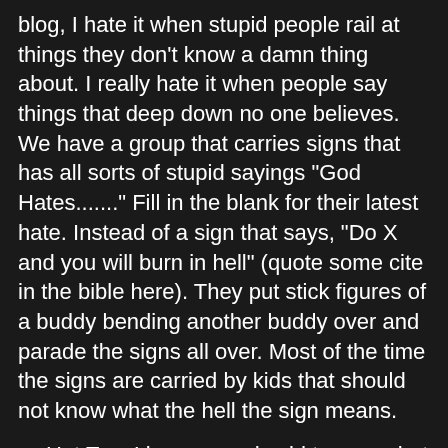blog, I hate it when stupid people rail at things they don't know a damn thing about. I really hate it when people say things that deep down no one believes. We have a group that carries signs that has all sorts of stupid sayings "God Hates......." Fill in the blank for their latest hate. Instead of a sign that says, "Do X and you will burn in hell" (quote some cite in the bible here). They put stick figures of a buddy bending another buddy over and parade the signs all over. Most of the time the signs are carried by kids that should not know what the hell the sign means.
Hot Tea. I love a good cold tea on a hot day but hot tea is just not normally my drink of choice. Oh Sure, I'll order a pot of tea at the Chinese restaurant when Barb is along but I have been known to drink Iced Tea even on Zero Degree days. But hold the sugar even in iced tea. Carbonated soft drinks are kind of OK but , "Sweet tea?"
Places that advertise one thing and deliver another. If